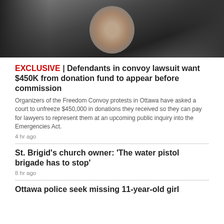[Figure (photo): A smiling woman wearing glasses surrounded by dark-clad figures, backlit scene]
EXCLUSIVE | Defendants in convoy lawsuit want $450K from donation fund to appear before commission
Organizers of the Freedom Convoy protests in Ottawa have asked a court to unfreeze $450,000 in donations they received so they can pay for lawyers to represent them at an upcoming public inquiry into the Emergencies Act.
4 hr ago
St. Brigid's church owner: 'The water pistol brigade has to stop'
8 hr ago
Ottawa police seek missing 11-year-old girl